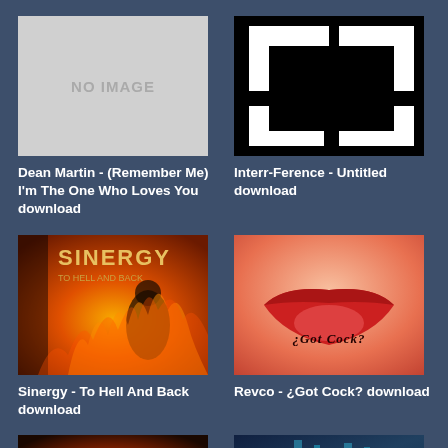[Figure (illustration): No image placeholder box, light gray background with 'NO IMAGE' text]
Dean Martin - (Remember Me) I'm The One Who Loves You download
[Figure (illustration): Black and white geometric logo with T/F shapes on black background]
Interr-Ference - Untitled download
[Figure (photo): Sinergy - To Hell And Back album cover showing fiery orange background with figure and 'SINERGY' text]
Sinergy - To Hell And Back download
[Figure (photo): Close-up of red lips with '¿Got Cock?' text on an orange/red background]
Revco - ¿Got Cock? download
[Figure (photo): Partial album cover with orange neon style lettering on dark background - bottom row left]
[Figure (photo): Partial album cover with blue/teal tones - bottom row right]